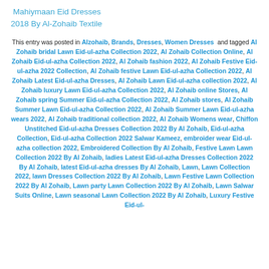Mahiymaan Eid Dresses 2018 By Al-Zohaib Textile
This entry was posted in Alzohaib, Brands, Dresses, Women Dresses and tagged Al Zohaib bridal Lawn Eid-ul-azha Collection 2022, Al Zohaib Collection Online, Al Zohaib Eid-ul-azha Collection 2022, Al Zohaib fashion 2022, Al Zohaib Festive Eid-ul-azha 2022 Collection, Al Zohaib festive Lawn Eid-ul-azha Collection 2022, Al Zohaib Latest Eid-ul-azha Dresses, Al Zohaib Lawn Eid-ul-azha collection 2022, Al Zohaib luxury Lawn Eid-ul-azha Collection 2022, Al Zohaib online Stores, Al Zohaib spring Summer Eid-ul-azha Collection 2022, Al Zohaib stores, Al Zohaib Summer Lawn Eid-ul-azha Collection 2022, Al Zohaib Summer Lawn Eid-ul-azha wears 2022, Al Zohaib traditional collection 2022, Al Zohaib Womens wear, Chiffon Unstitched Eid-ul-azha Dresses Collection 2022 By Al Zohaib, Eid-ul-azha Collection, Eid-ul-azha Collection 2022 Salwar Kameez, embroider wear Eid-ul-azha collection 2022, Embroidered Collection By Al Zohaib, Festive Lawn Lawn Collection 2022 By Al Zohaib, ladies Latest Eid-ul-azha Dresses Collection 2022 By Al Zohaib, latest Eid-ul-azha dresses By Al Zohaib, Lawn, Lawn Collection 2022, lawn Dresses Collection 2022 By Al Zohaib, Lawn Festive Lawn Collection 2022 By Al Zohaib, Lawn party Lawn Collection 2022 By Al Zohaib, Lawn Salwar Suits Online, Lawn seasonal Lawn Collection 2022 By Al Zohaib, Luxury Festive Eid-ul-azha Dresses Collection 2022 By Al Zohaib